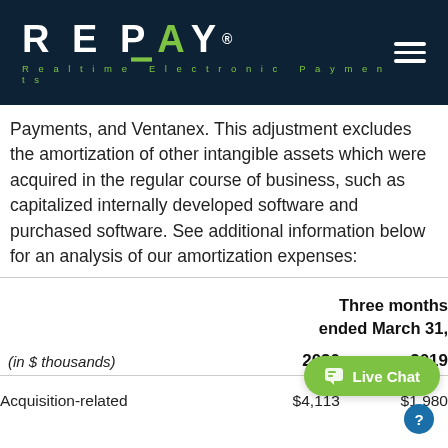REPAY — Realtime Electronic Payments
Payments, and Ventanex. This adjustment excludes the amortization of other intangible assets which were acquired in the regular course of business, such as capitalized internally developed software and purchased software. See additional information below for an analysis of our amortization expenses:
| (in $ thousands) | Three months ended March 31, 2020 | Three months ended March 31, 2019 |
| --- | --- | --- |
| Acquisition-related | $4,113 | $1,980 |